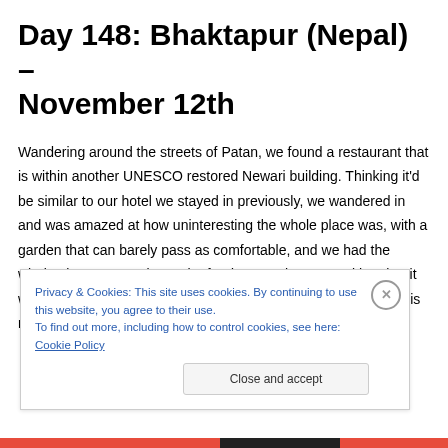Day 148: Bhaktapur (Nepal) – November 12th
Wandering around the streets of Patan, we found a restaurant that is within another UNESCO restored Newari building. Thinking it'd be similar to our hotel we stayed in previously, we wandered in and was amazed at how uninteresting the whole place was, with a garden that can barely pass as comfortable, and we had the whole place to ourselves! The food wasn't that great either, but it was nice and quiet and away from the hustle and bustle, which is not easy to find in any
Privacy & Cookies: This site uses cookies. By continuing to use this website, you agree to their use.
To find out more, including how to control cookies, see here: Cookie Policy